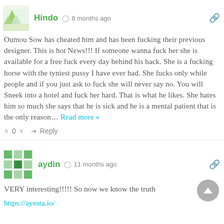[Figure (illustration): User avatar for Hindo - green and yellow abstract/nature pattern]
Hindo  8 months ago
Oumou Sow has cheated him and has been fucking their previous designer. This is hot News!!! If someone wanna fuck her she is available for a free fuck every day behind his back. She is a fucking horse with the tyniest pussy I have ever had. She fucks only while people and if you just ask to fuck she will never say no. You will Sneek into a hotel and fuck her hard. That is what he likes. She hates him so much she says that he is sick and he is a mental patient that is the only reason… Read more »
∧  0  ∨    → Reply
[Figure (illustration): User avatar for aydin - green geometric/grid pattern]
aydin  11 months ago
VERY interesting!!!!! So now we know the truth
https://ayesta.io/